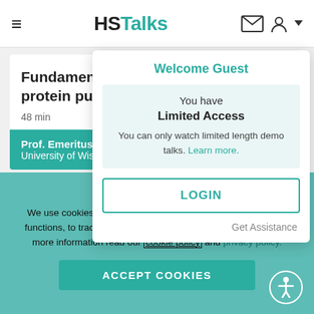HSTalks
Fundamentals of protein purif…
48 min
Prof. Emeritus Richard D…
University of Wisconsin…
Welcome Guest
You have Limited Access
You can only watch limited length demo talks. Learn more.
LOGIN
Get Assistance
Cookies and privacy
We use cookies, and similar tools, to improve the way this site functions, to track browsing patterns and enable marketing. For more information read our cookie policy and privacy policy.
ACCEPT COOKIES